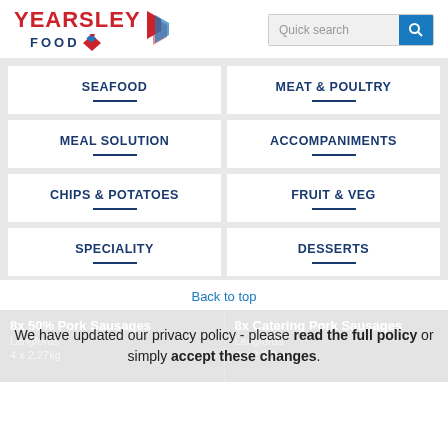[Figure (logo): Yearsley Food logo with red text and diamond graphic]
[Figure (screenshot): Quick search bar with blue search button]
SEAFOOD
MEAT & POULTRY
MEAL SOLUTION
ACCOMPANIMENTS
CHIPS & POTATOES
FRUIT & VEG
SPECIALITY
DESSERTS
Back to top
8x 50% Pork Sausages
Langfords
4 x 2.27kg
8x Catering Pork Sausages
Langfords
4 x 2.27kg
We have updated our privacy policy - please read the full policy or simply accept these changes.